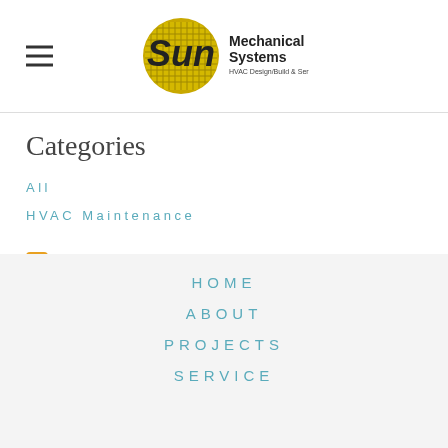Sun Mechanical Systems — HVAC Design/Build & Service Specialists
Categories
All
HVAC Maintenance
RSS Feed
HOME
ABOUT
PROJECTS
SERVICE